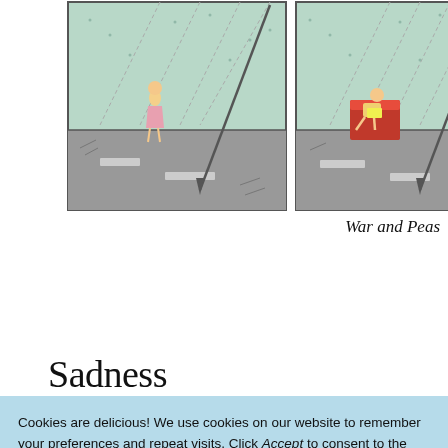[Figure (illustration): Two-panel comic strip. Left panel shows a small figure (girl) standing on a sidewalk/road with large diagonal lines (rain or needles falling). Right panel shows the same figure sitting in a red armchair outdoors on the same road scene with large diagonal lines. Caption reads 'War and Peas' in cursive handwriting.]
War and Peas
Sadness
Cookies are delicious! We use cookies on our website to remember your preferences and repeat visits. Click Accept to consent to the use of all cookies or personalize your settings here 🌕
Cookie settings   ACCEPT